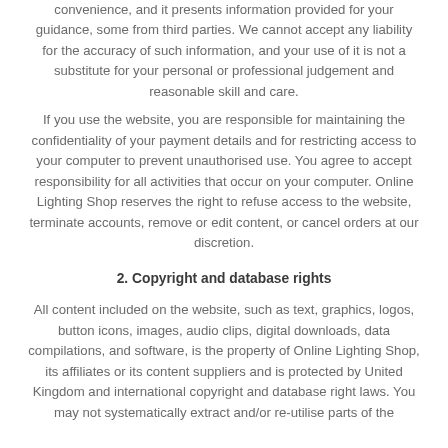convenience, and it presents information provided for your guidance, some from third parties. We cannot accept any liability for the accuracy of such information, and your use of it is not a substitute for your personal or professional judgement and reasonable skill and care.
If you use the website, you are responsible for maintaining the confidentiality of your payment details and for restricting access to your computer to prevent unauthorised use. You agree to accept responsibility for all activities that occur on your computer. Online Lighting Shop reserves the right to refuse access to the website, terminate accounts, remove or edit content, or cancel orders at our discretion.
2. Copyright and database rights
All content included on the website, such as text, graphics, logos, button icons, images, audio clips, digital downloads, data compilations, and software, is the property of Online Lighting Shop, its affiliates or its content suppliers and is protected by United Kingdom and international copyright and database right laws. You may not systematically extract and/or re-utilise parts of the